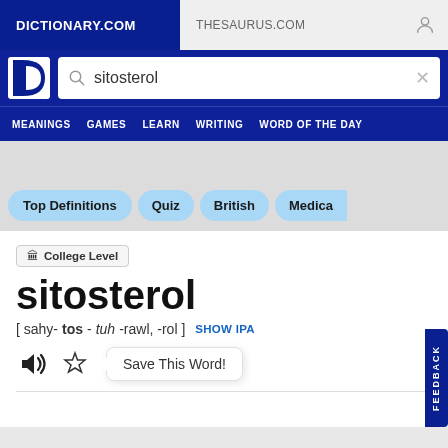DICTIONARY.COM | THESAURUS.COM
[Figure (screenshot): Dictionary.com search bar with 'sitosterol' query]
MEANINGS  GAMES  LEARN  WRITING  WORD OF THE DAY
Top Definitions
Quiz
British
Medica
🏛 College Level
sitosterol
[ sahy-tos-tuh-rawl, -rol ]  SHOW IPA
Save This Word!